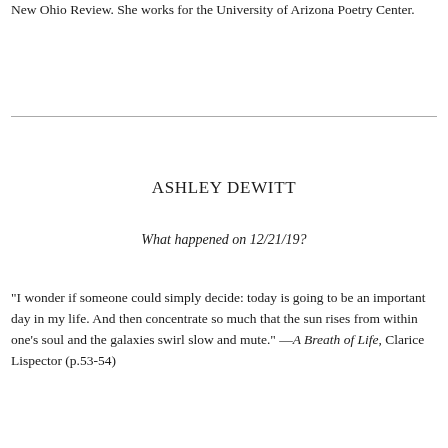New Ohio Review. She works for the University of Arizona Poetry Center.
ASHLEY DEWITT
What happened on 12/21/19?
"I wonder if someone could simply decide: today is going to be an important day in my life. And then concentrate so much that the sun rises from within one's soul and the galaxies swirl slow and mute." —A Breath of Life, Clarice Lispector (p.53-54)